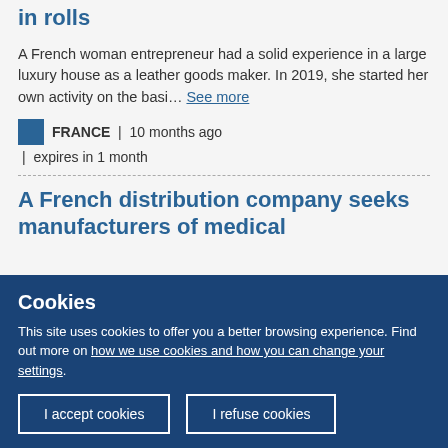in rolls
A French woman entrepreneur had a solid experience in a large luxury house as a leather goods maker. In 2019, she started her own activity on the basi... See more
FRANCE | 10 months ago | expires in 1 month
A French distribution company seeks manufacturers of medical
Cookies
This site uses cookies to offer you a better browsing experience. Find out more on how we use cookies and how you can change your settings.
I accept cookies | I refuse cookies